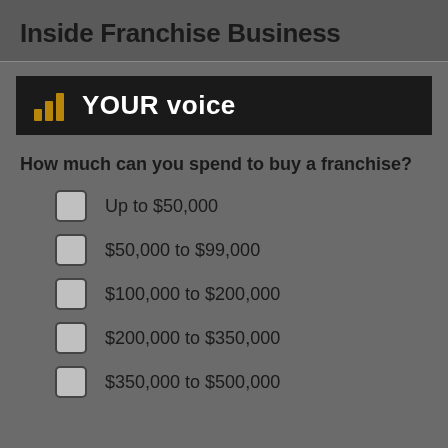Inside Franchise Business
[Figure (logo): Bar chart icon with YOUR voice text on dark banner]
How much can you spend to buy a franchise?
Up to $50,000
$50,000 to $99,000
$100,000 to $200,000
$200,000 to $350,000
$350,000 to $500,000